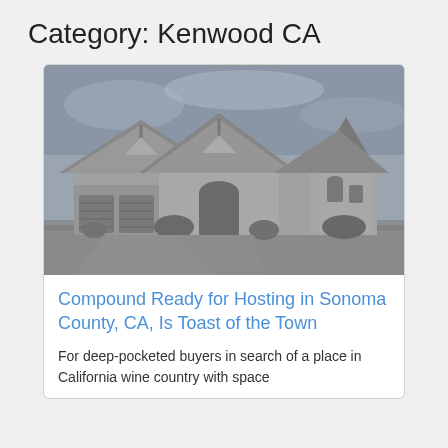Category: Kenwood CA
[Figure (photo): Black and white photograph of a large stone house with multiple gabled roofs, a round turret section, arched entryway, and a three-car garage, surrounded by a lawn.]
Compound Ready for Hosting in Sonoma County, CA, Is Toast of the Town
For deep-pocketed buyers in search of a place in California wine country with space